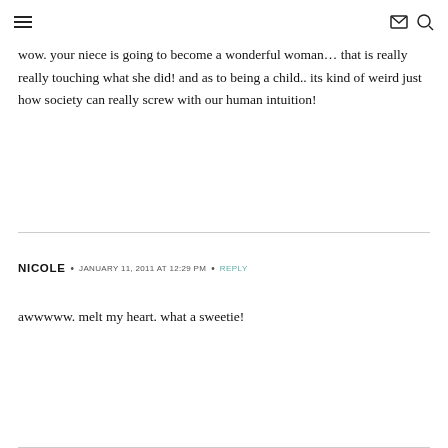[navigation icons: hamburger menu, email, search]
wow. your niece is going to become a wonderful woman… that is really really touching what she did! and as to being a child.. its kind of weird just how society can really screw with our human intuition!
NICOLE • JANUARY 11, 2011 AT 12:29 PM • REPLY
awwwww. melt my heart. what a sweetie!